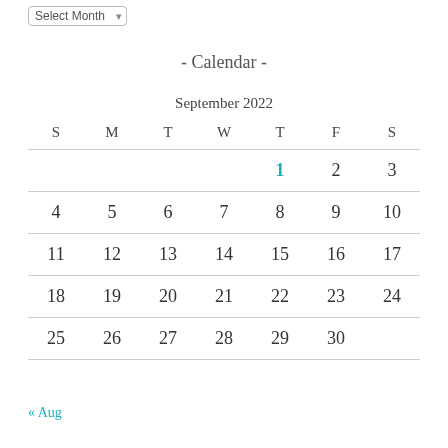- Calendar -
September 2022
| S | M | T | W | T | F | S |
| --- | --- | --- | --- | --- | --- | --- |
|  |  |  |  | 1 | 2 | 3 |
| 4 | 5 | 6 | 7 | 8 | 9 | 10 |
| 11 | 12 | 13 | 14 | 15 | 16 | 17 |
| 18 | 19 | 20 | 21 | 22 | 23 | 24 |
| 25 | 26 | 27 | 28 | 29 | 30 |  |
« Aug